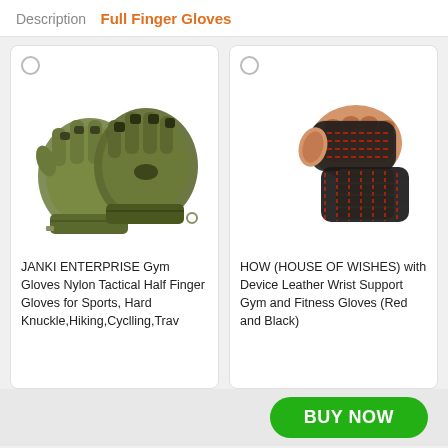Description  Full Finger Gloves
[Figure (photo): Two olive/green tactical half-finger gloves with hard knuckle protection]
JANKI ENTERPRISE Gym Gloves Nylon Tactical Half Finger Gloves for Sports, Hard Knuckle,Hiking,Cyclling,Trav
[Figure (photo): A fist wearing black gym glove with red stitching and wrist support wrap]
HOW (HOUSE OF WISHES) with Device Leather Wrist Support Gym and Fitness Gloves (Red and Black)
BUY NOW